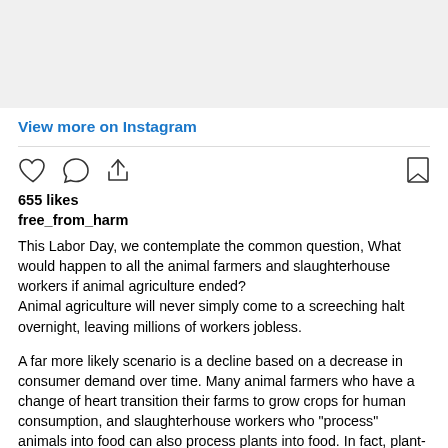[Figure (screenshot): Gray placeholder image area at top of Instagram post]
View more on Instagram
[Figure (other): Instagram action icons row: heart (like), comment bubble, share/upload arrow on left; bookmark on right]
655 likes
free_from_harm
This Labor Day, we contemplate the common question, What would happen to all the animal farmers and slaughterhouse workers if animal agriculture ended?
Animal agriculture will never simply come to a screeching halt overnight, leaving millions of workers jobless.

A far more likely scenario is a decline based on a decrease in consumer demand over time. Many animal farmers who have a change of heart transition their farms to grow crops for human consumption, and slaughterhouse workers who “process” animals into food can also process plants into food. In fact, plant-based meat and dairy alternatives are one of the fastest